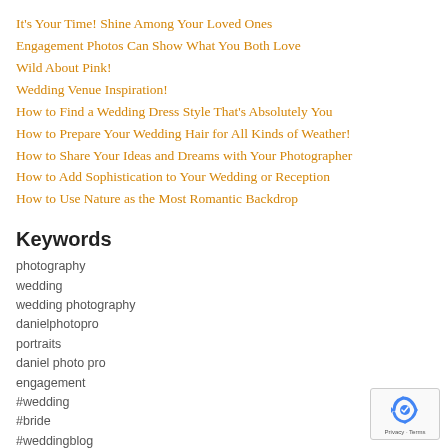It's Your Time! Shine Among Your Loved Ones
Engagement Photos Can Show What You Both Love
Wild About Pink!
Wedding Venue Inspiration!
How to Find a Wedding Dress Style That's Absolutely You
How to Prepare Your Wedding Hair for All Kinds of Weather!
How to Share Your Ideas and Dreams with Your Photographer
How to Add Sophistication to Your Wedding or Reception
How to Use Nature as the Most Romantic Backdrop
Keywords
photography
wedding
wedding photography
danielphotopro
portraits
daniel photo pro
engagement
#wedding
#bride
#weddingblog